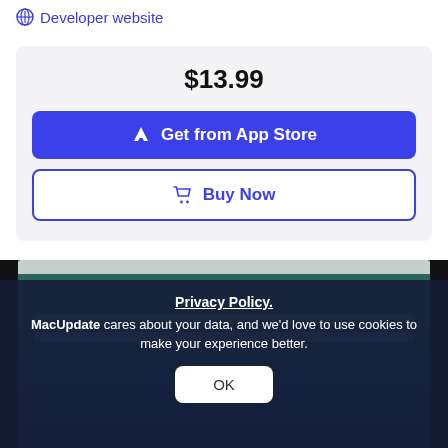Developer website
$13.99
Get from App Store
Buy Now
[Figure (screenshot): Screenshot of a macOS application interface with a dark teal/navy background and some UI rows visible]
Privacy Policy.
MacUpdate cares about your data, and we'd love to use cookies to make your experience better.
OK